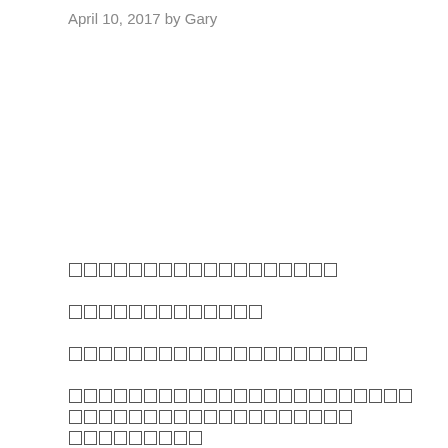April 10, 2017 by Gary
[unrecognized script characters — line 1]
[unrecognized script characters — line 2]
[unrecognized script characters — line 3]
[unrecognized script characters — lines 4-5]